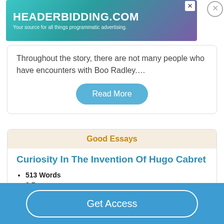[Figure (other): Advertisement banner for HEADERBIDDING.COM with tagline 'Your source for all things programmatic advertising.']
Throughout the story, there are not many people who have encounters with Boo Radley....
Read More
Good Essays
Curiosity In The Invention Of Hugo Cabret
513 Words
3 Pages
The character, Hugo, starts off as an orphaned, clock
Get Access